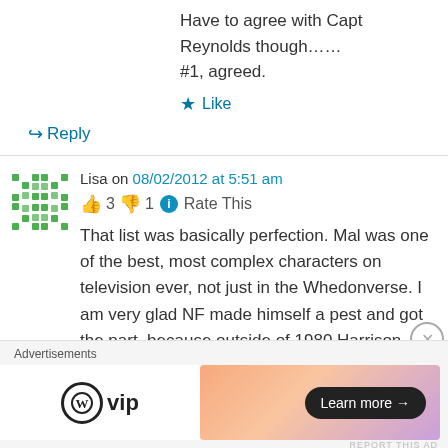Have to agree with Capt Reynolds though……
#1, agreed.
★ Like
↪ Reply
Lisa on 08/02/2012 at 5:51 am
👍 3 👎 1 ℹ Rate This
That list was basically perfection. Mal was one of the best, most complex characters on television ever, not just in the Whedonverse. I am very glad NF made himself a pest and got the part, because outside of 1980 Harrison Ford I can't
Advertisements
[Figure (logo): WordPress VIP logo and advertisement banner with gradient background and Learn more button]